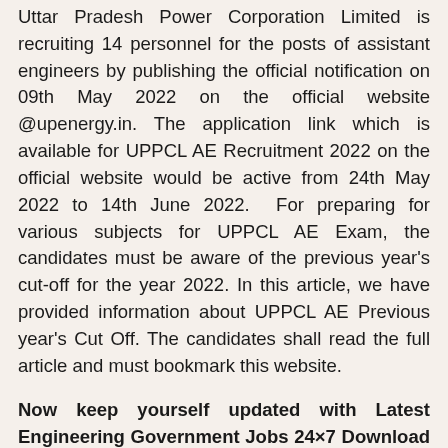Uttar Pradesh Power Corporation Limited is recruiting 14 personnel for the posts of assistant engineers by publishing the official notification on 09th May 2022 on the official website @upenergy.in. The application link which is available for UPPCL AE Recruitment 2022 on the official website would be active from 24th May 2022 to 14th June 2022. For preparing for various subjects for UPPCL AE Exam, the candidates must be aware of the previous year's cut-off for the year 2022. In this article, we have provided information about UPPCL AE Previous year's Cut Off. The candidates shall read the full article and must bookmark this website.
Now keep yourself updated with Latest Engineering Government Jobs 24×7 Download ADDA247 App Now! CLICK HERE